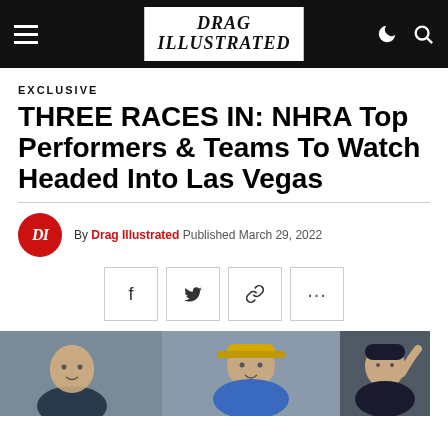Drag Illustrated
EXCLUSIVE
THREE RACES IN: NHRA Top Performers & Teams To Watch Headed Into Las Vegas
By Drag Illustrated Published March 29, 2022
[Figure (photo): Three-panel hero image showing NHRA drivers/personalities at a racing event]